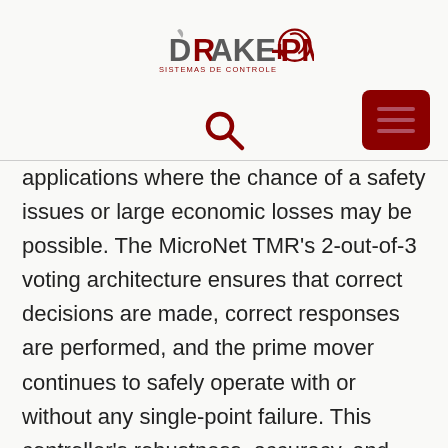[Figure (logo): Drake PM Sistemas de Controle logo — company name in bold dark gray and dark red with circular swoosh graphic]
[Figure (other): Dark red hamburger menu button (three horizontal lines) in top right corner]
[Figure (other): Search magnifying glass icon in dark red]
applications where the chance of a safety issues or large economic losses may be possible. The MicroNet TMR’s 2-out-of-3 voting architecture ensures that correct decisions are made, correct responses are performed, and the prime mover continues to safely operate with or without any single-point failure. This controller’s robustness, accuracy, and availability make it the choice of turbine and compressor OEMs and operators.